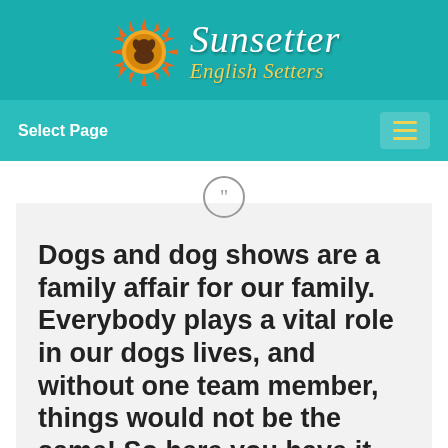[Figure (logo): Sunsetter English Setters logo with orange sun burst graphic and dog silhouette, with cursive white text 'Sunsetter' and yellow text 'English Setters' on teal background]
Select Page
Dogs and dog shows are a family affair for our family. Everybody plays a vital role in our dogs lives, and without one team member, things would not be the same! So here you have it, the